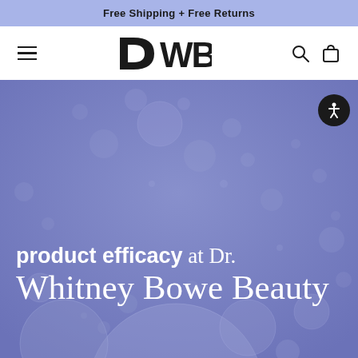Free Shipping + Free Returns
[Figure (logo): DWB logo with hamburger menu, search icon, and bag icon in white navigation bar]
[Figure (illustration): Hero image with purple/blue background showing floating bubbles/spheres. Text reads 'product efficacy at Dr. Whitney Bowe Beauty' in white. Accessibility button in top right corner.]